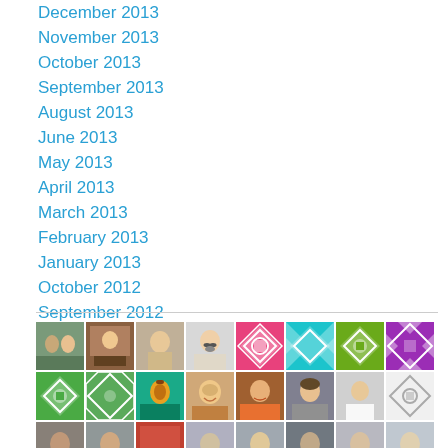December 2013
November 2013
October 2013
September 2013
August 2013
June 2013
May 2013
April 2013
March 2013
February 2013
January 2013
October 2012
September 2012
[Figure (photo): Grid of user avatar thumbnails showing profile photos and decorative tile patterns in various colors including pink, teal, green, purple, and personal photos of people.]